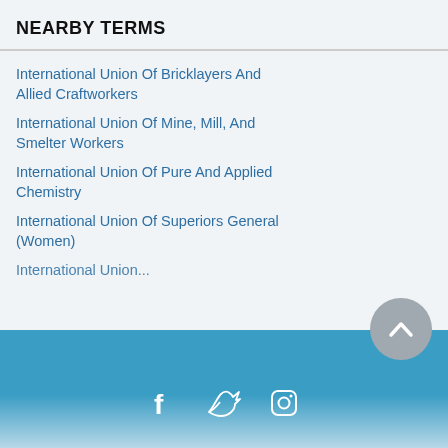NEARBY TERMS
International Union Of Bricklayers And Allied Craftworkers
International Union Of Mine, Mill, And Smelter Workers
International Union Of Pure And Applied Chemistry
International Union Of Superiors General (Women)
Social media icons: Facebook, Twitter, Instagram